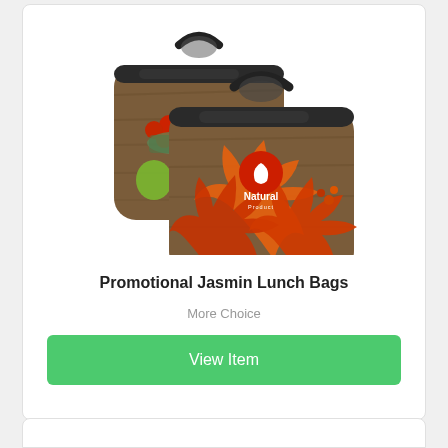[Figure (photo): Two promotional neoprene lunch bags with autumn/fall theme. The back bag shows red berries and green fruits on a wooden background. The front bag features large orange and red maple leaves with a 'Natural Product' logo (white leaf icon) printed on it.]
Promotional Jasmin Lunch Bags
More Choice
View Item